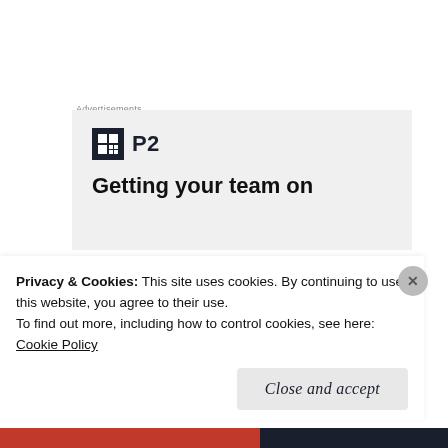Advertisements
[Figure (logo): P2 product logo with dark square icon and 'P2' text, followed by partial tagline 'Getting your team on']
Adam
January 31, 2009 at 11:59 am
Privacy & Cookies: This site uses cookies. By continuing to use this website, you agree to their use.
To find out more, including how to control cookies, see here:
Cookie Policy
Close and accept